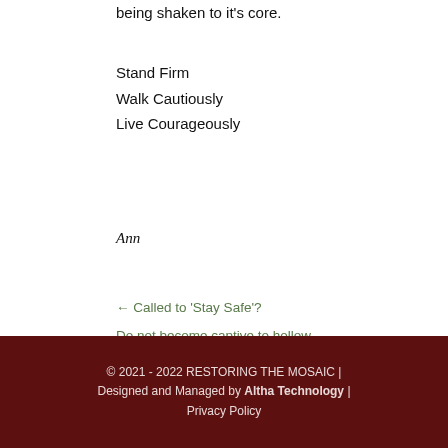being shaken to it's core.
Stand Firm
Walk Cautiously
Live Courageously
Ann
← Called to 'Stay Safe'?
Do not become captive to hollow and deceptive philosophies →
© 2021 - 2022 RESTORING THE MOSAIC | Designed and Managed by Altha Technology | Privacy Policy